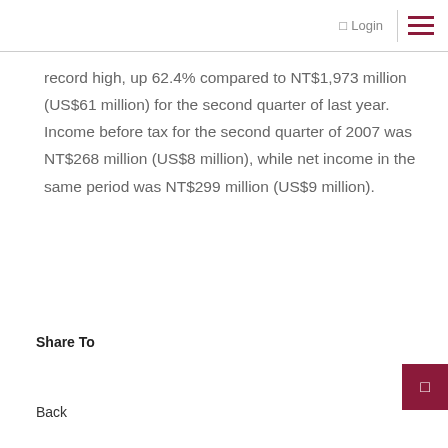Login
record high, up 62.4% compared to NT$1,973 million (US$61 million) for the second quarter of last year. Income before tax for the second quarter of 2007 was NT$268 million (US$8 million), while net income in the same period was NT$299 million (US$9 million).
Share To
Back